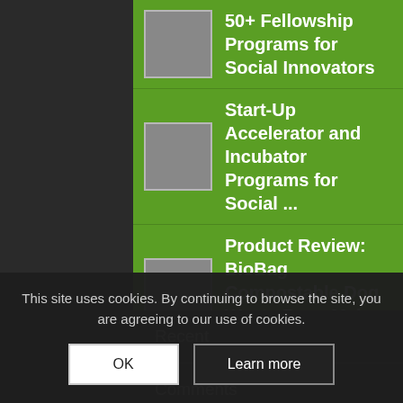50+ Fellowship Programs for Social Innovators
Start-Up Accelerator and Incubator Programs for Social ...
Product Review: BioBag Compostable Dog Waste Bags Make ...
What is a Constituency Statute?
Recent
Comments
This site uses cookies. By continuing to browse the site, you are agreeing to our use of cookies.
OK
Learn more